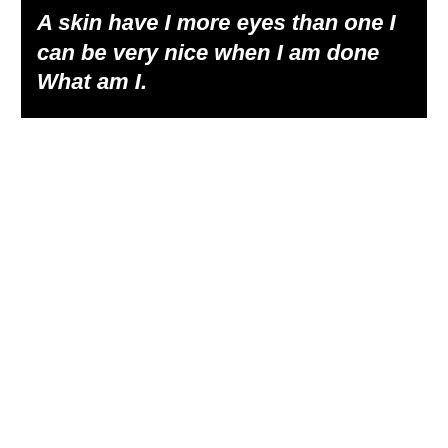A skin have I more eyes than one I can be very nice when I am done What am I.